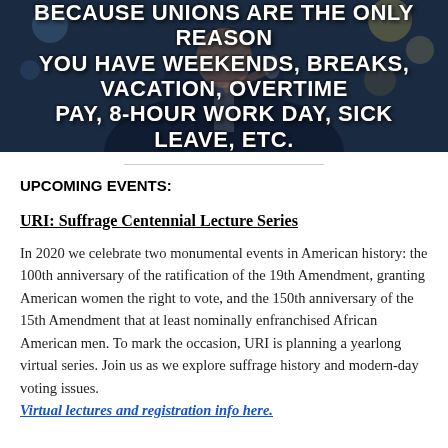[Figure (photo): Photo of a person in a tuxedo raising a glass, with bold white text overlay reading: BECAUSE UNIONS ARE THE ONLY REASON YOU HAVE WEEKENDS, BREAKS, VACATION, OVERTIME PAY, 8-HOUR WORK DAY, SICK LEAVE, ETC.]
UPCOMING EVENTS:
URI: Suffrage Centennial Lecture Series
In 2020 we celebrate two monumental events in American history: the 100th anniversary of the ratification of the 19th Amendment, granting American women the right to vote, and the 150th anniversary of the 15th Amendment that at least nominally enfranchised African American men. To mark the occasion, URI is planning a yearlong virtual series. Join us as we explore suffrage history and modern-day voting issues.
Virtual lectures and registration info here.